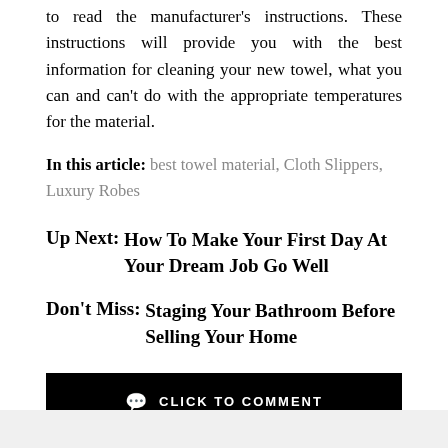to read the manufacturer's instructions. These instructions will provide you with the best information for cleaning your new towel, what you can and can't do with the appropriate temperatures for the material.
In this article: best towel material, Cloth Slippers, Luxury Robes
Up Next: How To Make Your First Day At Your Dream Job Go Well
Don't Miss: Staging Your Bathroom Before Selling Your Home
CLICK TO COMMENT